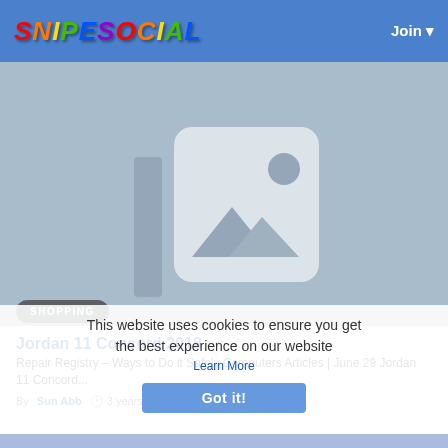SNIPESOCIAL | Join
[Figure (photo): Placeholder image with mountain icon on blue-grey background]
SHOPPING
Jordan 11 Concord 2018
Repair Registry – Ways to Do it Safely Computers Articles | June 29 Jordan 11 Concord...
By Sun Abb  3 years ago  0  334
This website uses cookies to ensure you get the best experience on our website
Learn More
Got it!